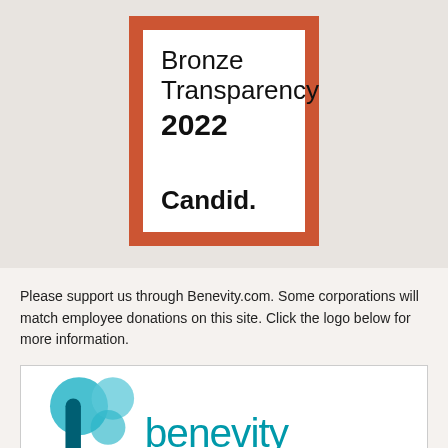[Figure (logo): Candid Bronze Transparency 2022 seal — white rectangle with orange border containing the text 'Bronze', 'Transparency', '2022', and 'Candid.' in bold]
Please support us through Benevity.com. Some corporations will match employee donations on this site. Click the logo below for more information.
[Figure (logo): Benevity logo — teal/blue circular shapes forming a stylized 'b' figure on the left, with the word 'benevity' in teal to the right]